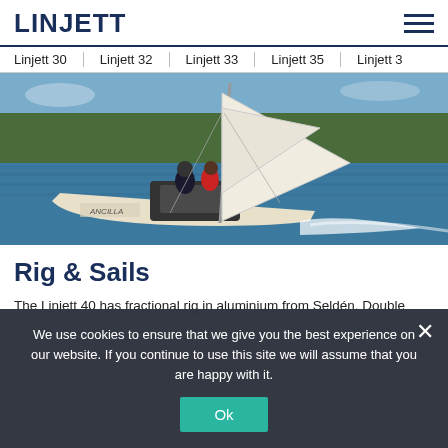LINJETT
Linjett 30 | Linjett 32 | Linjett 33 | Linjett 35 | Linjett 3…
[Figure (photo): A sailboat named ANCILLA underway with crew on deck, heeling in open water with forested coastline in background]
Rig & Sails
The Linjett 40 has fractional rig in aluminium from Seldén. Double
We use cookies to ensure that we give you the best experience on our website. If you continue to use this site we will assume that you are happy with it.
Ok